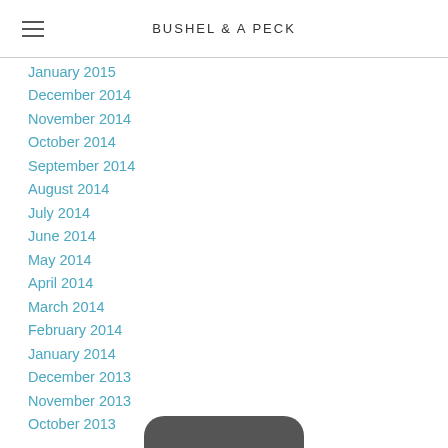BUSHEL & A PECK
January 2015
December 2014
November 2014
October 2014
September 2014
August 2014
July 2014
June 2014
May 2014
April 2014
March 2014
February 2014
January 2014
December 2013
November 2013
October 2013